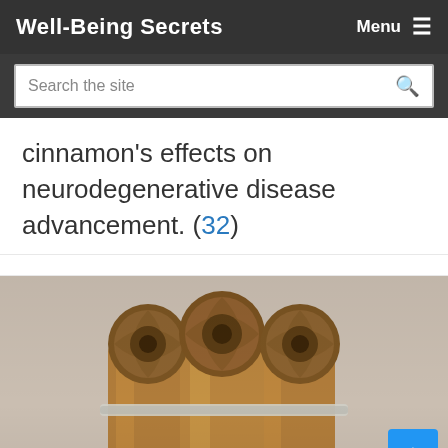Well-Being Secrets  Menu
Search the site
cinnamon's effects on neurodegenerative disease advancement. (32)
[Figure (photo): A bundle of cinnamon sticks tied together with a rubber band, photographed close-up on a blurred grey background.]